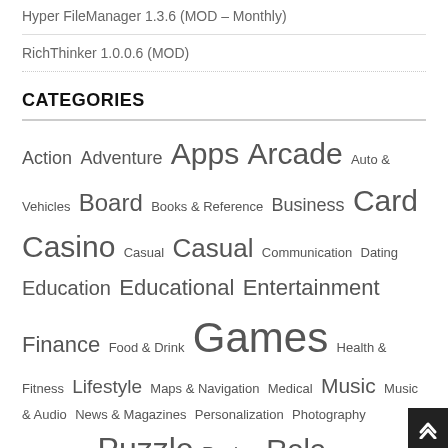Hyper FileManager 1.3.6 (MOD – Monthly)
RichThinker 1.0.0.6 (MOD)
CATEGORIES
Action Adventure Apps Arcade Auto & Vehicles Board Books & Reference Business Card Casino Casual Casual Communication Dating Education Educational Entertainment Finance Food & Drink Games Health & Fitness Lifestyle Maps & Navigation Medical Music Music & Audio News & Magazines Personalization Photography Productivity Puzzle Racing Role Playing Shopping Simulation Social Sports Sports Strategy Tools Travel & Local Trivia Video Players & Editors Weather Word